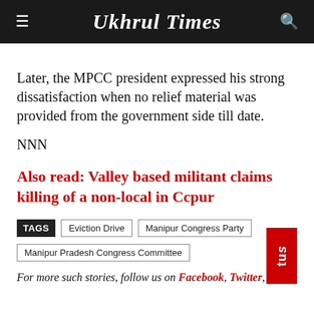Ukhrul Times
Later, the MPCC president expressed his strong dissatisfaction when no relief material was provided from the government side till date.
NNN
Also read: Valley based militant claims killing of a non-local in Ccpur
TAGS   Eviction Drive   Manipur Congress Party   Manipur Pradesh Congress Committee
For more such stories, follow us on Facebook, Twitter,